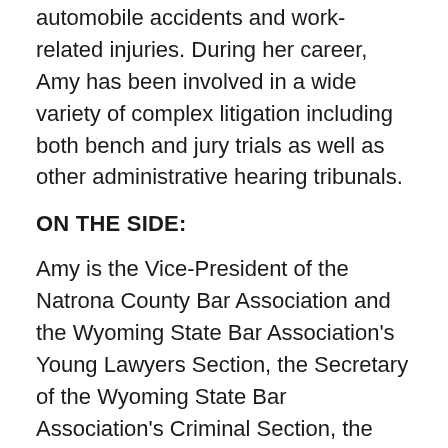automobile accidents and work-related injuries. During her career, Amy has been involved in a wide variety of complex litigation including both bench and jury trials as well as other administrative hearing tribunals.
ON THE SIDE:
Amy is the Vice-President of the Natrona County Bar Association and the Wyoming State Bar Association's Young Lawyers Section, the Secretary of the Wyoming State Bar Association's Criminal Section, the defense lawyer for the Natrona County Drug Court Program, and a member of the Wyoming Trial Lawyers Association, Defense Lawyer's Association of Wyoming, 10th Circuit Historical